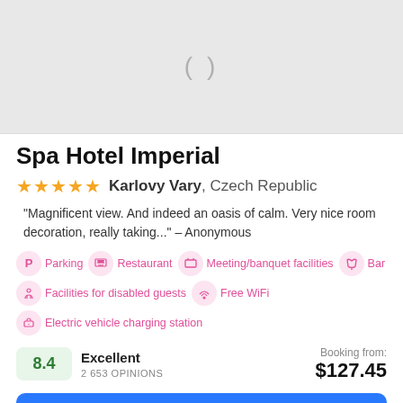[Figure (photo): Loading placeholder — gray rectangle with a spinning/loading indicator in the center]
Spa Hotel Imperial
★★★★★  Karlovy Vary, Czech Republic
"Magnificent view. And indeed an oasis of calm. Very nice room decoration, really taking..." – Anonymous
Parking
Restaurant
Meeting/banquet facilities
Bar
Facilities for disabled guests
Free WiFi
Electric vehicle charging station
8.4  Excellent  2 653 OPINIONS  Booking from: $127.45
Check prices now